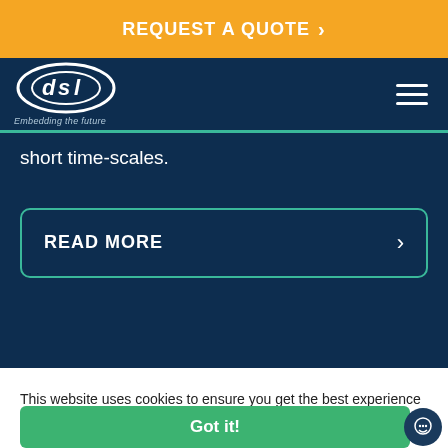REQUEST A QUOTE >
[Figure (logo): DSL logo with text 'Embedding the future']
short time-scales.
READ MORE >
This website uses cookies to ensure you get the best experience on our website
Got it!